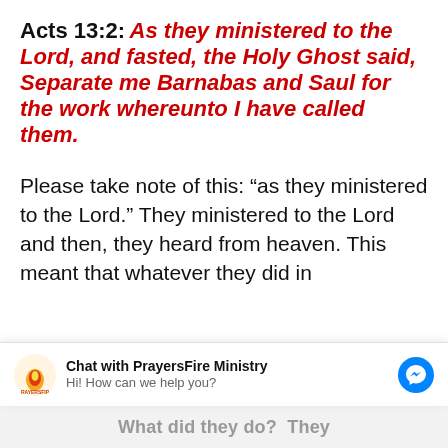Acts 13:2: As they ministered to the Lord, and fasted, the Holy Ghost said, Separate me Barnabas and Saul for the work whereunto I have called them.
Please take note of this: “as they ministered to the Lord.” They ministered to the Lord and then, they heard from heaven. This meant that whatever they did in
[Figure (screenshot): Chat widget bar from PrayersFire Ministry with logo, title 'Chat with PrayersFire Ministry', subtitle 'Hi! How can we help you?', and a blue Messenger icon button]
What did they do? They